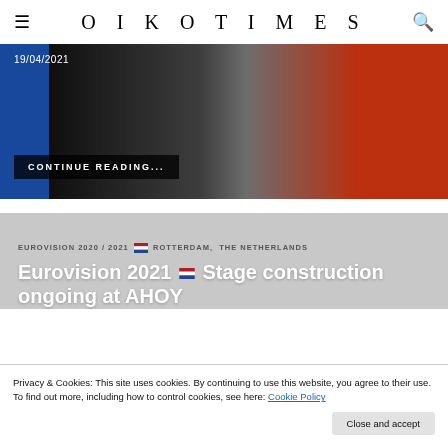OIKOTIMES
[Figure (photo): Hero image showing three figures in blue, black, and red outfits with date overlay 19/04/2021 and CONTINUE READING... button]
EUROVISION 2020 / 2021 🇳🇱 ROTTERDAM, THE NETHERLANDS
Eurovision 2021 🇳🇱 Stage construction ongoing at AHOY
Privacy & Cookies: This site uses cookies. By continuing to use this website, you agree to their use.
To find out more, including how to control cookies, see here: Cookie Policy
Close and accept